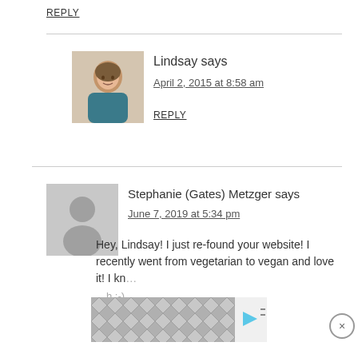REPLY
[Figure (photo): Lindsay profile photo - woman with brown hair smiling]
Lindsay says
April 2, 2015 at 8:58 am
REPLY
[Figure (illustration): Generic placeholder avatar - grey silhouette of a person]
Stephanie (Gates) Metzger says
June 7, 2019 at 5:34 pm
Hey, Lindsay! I just re-found your website! I recently went from vegetarian to vegan and love it! I kn... ...h :-)
[Figure (infographic): Advertisement banner with geometric pattern and close/skip buttons]